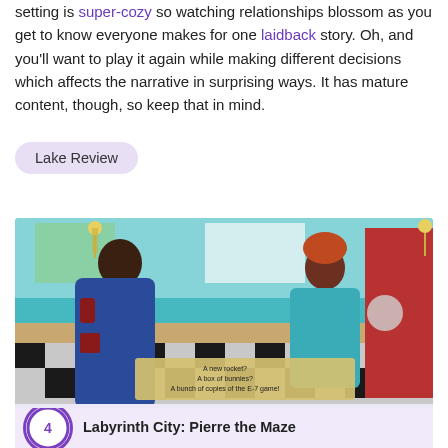setting is super-cozy so watching relationships blossom as you get to know everyone makes for one laidback story. Oh, and you'll want to play it again while making different decisions which affects the narrative in surprising ways. It has mature content, though, so keep that in mind.
Lake Review
[Figure (screenshot): Screenshot from a video game showing two characters in a retro diner with teal walls and checkered floor. A woman with dark hair in a bun wearing a blue jacket faces a woman in a teal uniform with an orange hat. Dialogue options visible at the bottom: 'A new rocket?', 'A box of bunnies?', 'A bunch of copies of the E-7 game!']
Is anything cozier than discussing a box of bunnies in a diner?
Labyrinth City: Pierre the Maze